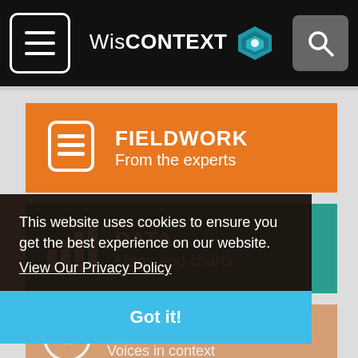WisCONTEXT
[Figure (screenshot): WisCONTEXT website navigation menu showing Fieldwork and Data category cards with cookie consent overlay]
This website uses cookies to ensure you get the best experience on our website.
View Our Privacy Policy
Got it!